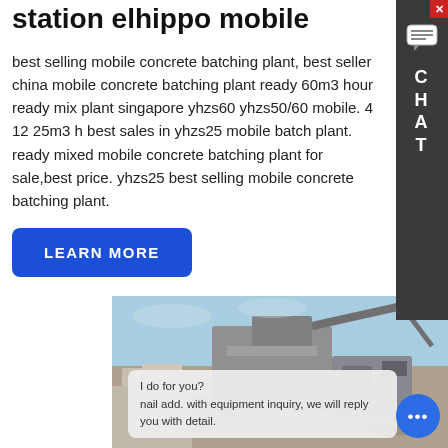station elhippo mobile
best selling mobile concrete batching plant, best seller china mobile concrete batching plant ready 60m3 hour ready mix plant singapore yhzs60 yhzs50/60 mobile. 4 12 25m3 h best sales in yhzs25 mobile batch plant. ready mixed mobile concrete batching plant for sale,best price. yhzs25 best selling mobile concrete batching plant.
LEARN MORE
[Figure (photo): Construction site with heavy equipment, concrete batching or crushing machinery, rubble and construction materials under a clear blue sky. A chat overlay at the bottom reads: 'I do for you? nail add. with equipment inquiry, we will reply you with detail.']